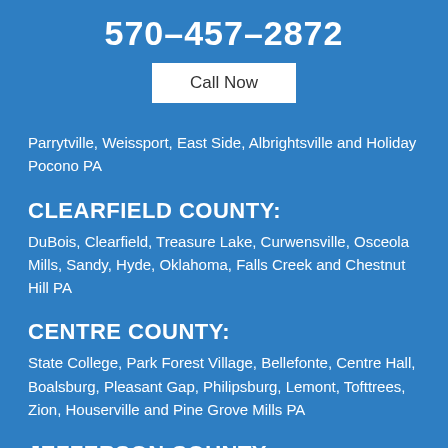570-457-2872
Call Now
Parrytville, Weissport, East Side, Albrightsville and Holiday Pocono PA
CLEARFIELD COUNTY:
DuBois, Clearfield, Treasure Lake, Curwensville, Osceola Mills, Sandy, Hyde, Oklahoma, Falls Creek and Chestnut Hill PA
CENTRE COUNTY:
State College, Park Forest Village, Bellefonte, Centre Hall, Boalsburg, Pleasant Gap, Philipsburg, Lemont, Tofttrees, Zion, Houserville and Pine Grove Mills PA
JEFFERSON COUNTY: